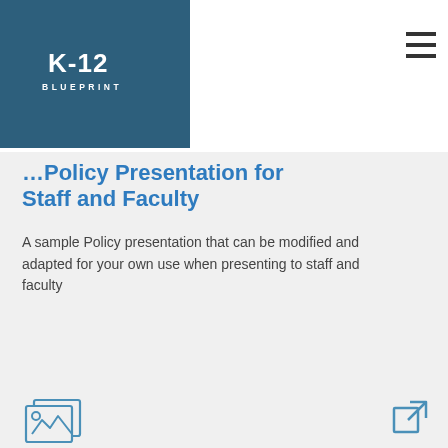K-12 BLUEPRINT
Policy Presentation for Staff and Faculty
A sample Policy presentation that can be modified and adapted for your own use when presenting to staff and faculty
[Figure (illustration): Two overlapping image/photo frame icons with mountain landscape outline, in blue outline style]
[Figure (illustration): External link icon - square with arrow pointing out top-right, in blue outline style]
Policy Presentation for Parents
A sample Policy presentation that can be modified and adapted for